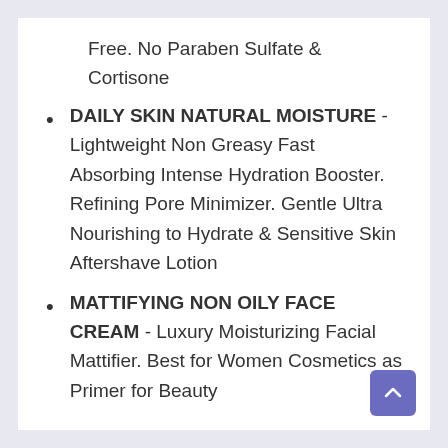Free. No Paraben Sulfate & Cortisone
DAILY SKIN NATURAL MOISTURE - Lightweight Non Greasy Fast Absorbing Intense Hydration Booster. Refining Pore Minimizer. Gentle Ultra Nourishing to Hydrate & Sensitive Skin Aftershave Lotion
MATTIFYING NON OILY FACE CREAM - Luxury Moisturizing Facial Mattifier. Best for Women Cosmetics as Primer for Beauty